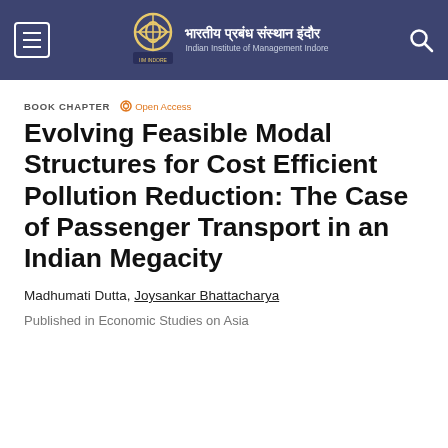भारतीय प्रबंध संस्थान इंदौर | Indian Institute of Management Indore
BOOK CHAPTER  🔓 Open Access
Evolving Feasible Modal Structures for Cost Efficient Pollution Reduction: The Case of Passenger Transport in an Indian Megacity
Madhumati Dutta, Joysankar Bhattacharya
Published in Economic Studies on Asia